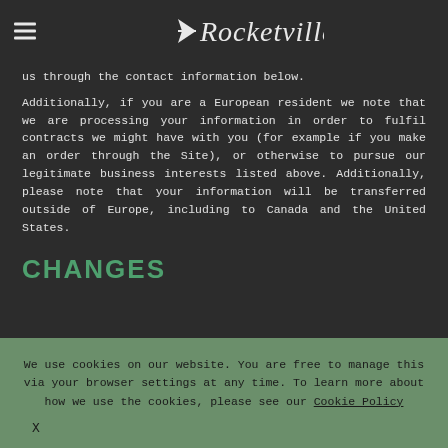Rocketville
us through the contact information below.
Additionally, if you are a European resident we note that we are processing your information in order to fulfil contracts we might have with you (for example if you make an order through the Site), or otherwise to pursue our legitimate business interests listed above. Additionally, please note that your information will be transferred outside of Europe, including to Canada and the United States.
CHANGES
We use cookies on our website. You are free to manage this via your browser settings at any time. To learn more about how we use the cookies, please see our Cookie Policy
X